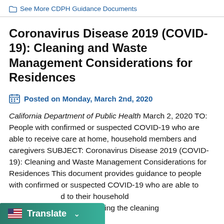See More CDPH Guidance Documents
Coronavirus Disease 2019 (COVID-19): Cleaning and Waste Management Considerations for Residences
Posted on Monday, March 2nd, 2020
California Department of Public Health March 2, 2020 TO: People with confirmed or suspected COVID-19 who are able to receive care at home, household members and caregivers SUBJECT: Coronavirus Disease 2019 (COVID-19): Cleaning and Waste Management Considerations for Residences This document provides guidance to people with confirmed or suspected COVID-19 who are able to receive care at home, and to their household members and caregivers, regarding the cleaning